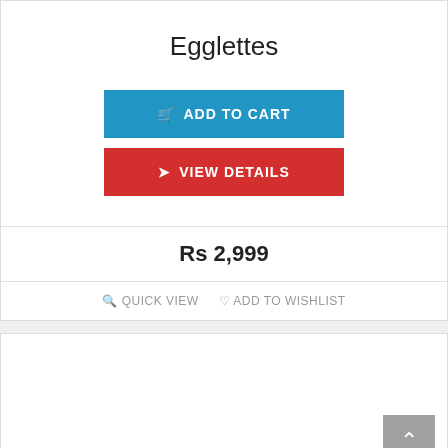Egglettes
ADD TO CART
VIEW DETAILS
Rs 2,999
QUICK VIEW  ADD TO WISHLIST
[Figure (screenshot): Empty white card area with scroll-to-top button in bottom-right corner]